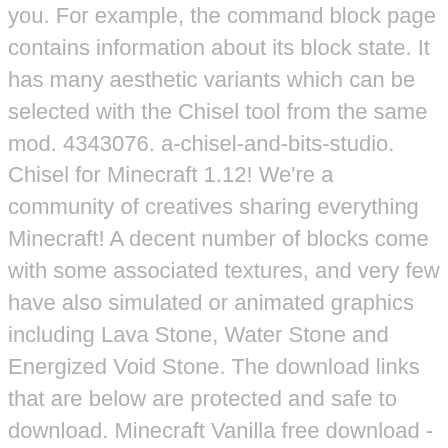you. For example, the command block page contains information about its block state. It has many aesthetic variants which can be selected with the Chisel tool from the same mod. 4343076. a-chisel-and-bits-studio. Chisel for Minecraft 1.12! We're a community of creatives sharing everything Minecraft! A decent number of blocks come with some associated textures, and very few have also simulated or animated graphics including Lava Stone, Water Stone and Energized Void Stone. The download links that are below are protected and safe to download. Minecraft Vanilla free download - Minecraft Forge for Minecraft 1.12.2, Minecraft Offline Files Installer, Minecraft Version Changer, and many more programs I think it would really open up small scale artistic projects without going overboard with block variants. It also adds two completely newly generated blocks: marble and ... Bring the Minecraft universe into the real world with augmented reality! Due to its' recipe, it is the slowest of all the Chisel blocks to manufacture in large amounts. Get the update See the nether update in action. Temple Block is a new decorative block added in